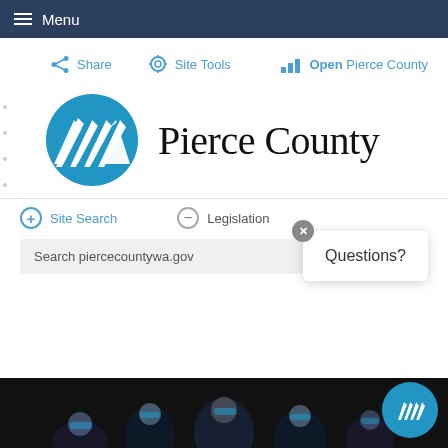Menu
Share  Site Tools  Open Pierce County
[Figure (logo): Pierce County circular logo with diagonal white stripes on blue background, next to text 'Pierce County' in serif font]
+ Site Search   - Legislation
Search piercecountywa.gov
Questions?
[Figure (photo): Group of people in blue superhero masks against dark background, partially visible at bottom of page]